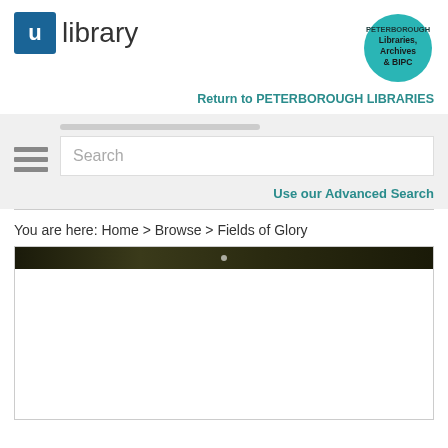[Figure (logo): ULibrary logo with blue square containing white U letter followed by word 'library']
[Figure (logo): Peterborough Libraries, Archives & BIPC circular teal badge]
Return to PETERBOROUGH LIBRARIES
Search
Use our Advanced Search
You are here: Home > Browse > Fields of Glory
[Figure (screenshot): Book viewer area with dark header image and white content area below]